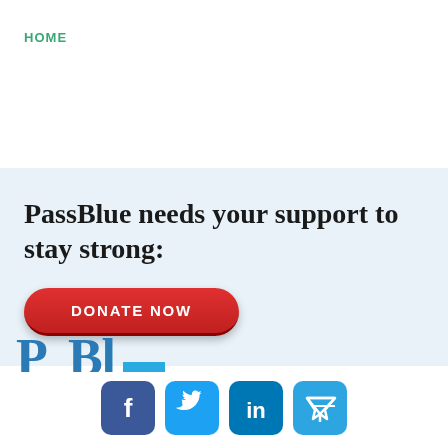HOME
PassBlue needs your support to stay strong:
[Figure (other): Red rounded donate button with text DONATE NOW]
[Figure (other): PassBlue logo partially visible at bottom, with blue square element]
[Figure (other): Social media icons row: Facebook (dark blue), Twitter (light blue), LinkedIn (medium blue), Telegram (light blue)]